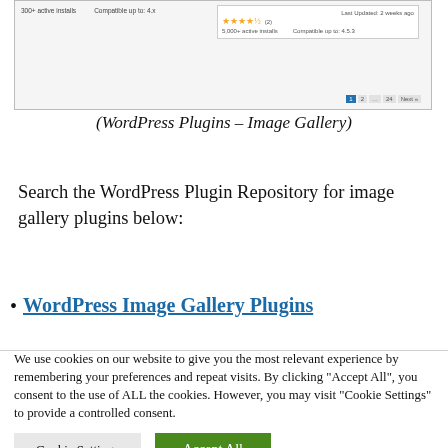[Figure (screenshot): WordPress Plugins – Image Gallery search results page showing plugin listings with star ratings, active installs, compatibility info, and pagination controls]
(WordPress Plugins – Image Gallery)
Search the WordPress Plugin Repository for image gallery plugins below:
WordPress Image Gallery Plugins
We use cookies on our website to give you the most relevant experience by remembering your preferences and repeat visits. By clicking "Accept All", you consent to the use of ALL the cookies. However, you may visit "Cookie Settings" to provide a controlled consent.